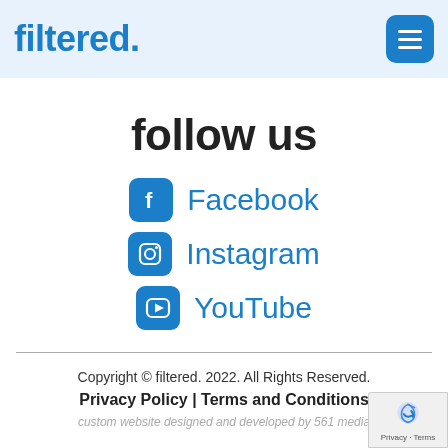filtered.
follow us
Facebook
Instagram
YouTube
Copyright © filtered. 2022. All Rights Reserved. Privacy Policy | Terms and Conditions custom website designed and developed by 561 media